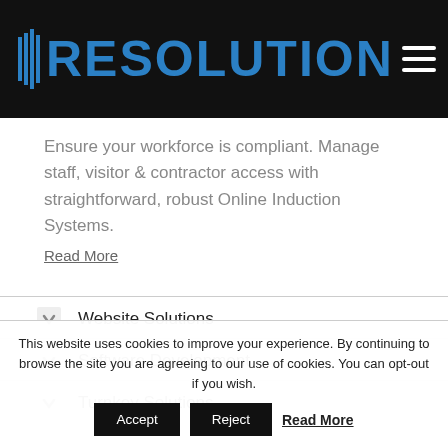RESOLUTION
Ensure your workforce is compliant. Manage staff, visitor & contractor access with straightforward, robust Online Induction Systems.
Read More
Website Solutions
Software Development
Turnkey Solutions
This website uses cookies to improve your experience. By continuing to browse the site you are agreeing to our use of cookies. You can opt-out if you wish.
Accept  Reject  Read More